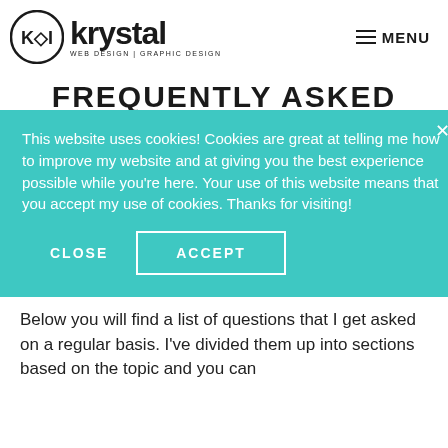[Figure (logo): Krystal logo with circular K icon and text 'krystal WEB DESIGN | GRAPHIC DESIGN']
MENU
FREQUENTLY ASKED QUESTIONS
Jump To Section: General Questions + Pricing / Web Design / Graphic Design / Branding / Illustration
This website uses cookies! Cookies are great at telling me how to improve my website and at giving you the best experience possible while you're here. Your use of this website means that you accept my use of cookies. Thanks for visiting!
Below you will find a list of questions that I get asked on a regular basis. I've divided them up into sections based on the topic and you can